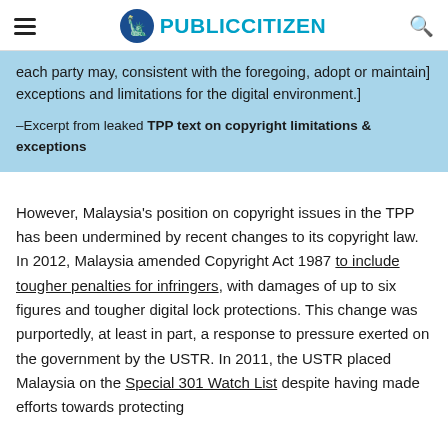PUBLIC CITIZEN
each party may, consistent with the foregoing, adopt or maintain] exceptions and limitations for the digital environment.]
–Excerpt from leaked TPP text on copyright limitations & exceptions
However, Malaysia's position on copyright issues in the TPP has been undermined by recent changes to its copyright law. In 2012, Malaysia amended Copyright Act 1987 to include tougher penalties for infringers, with damages of up to six figures and tougher digital lock protections. This change was purportedly, at least in part, a response to pressure exerted on the government by the USTR. In 2011, the USTR placed Malaysia on the Special 301 Watch List despite having made efforts towards protecting